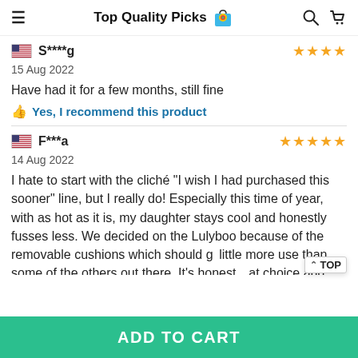Top Quality Picks
S****g
15 Aug 2022
Have had it for a few months, still fine
Yes, I recommend this product
F***a
14 Aug 2022
I hate to start with the cliché "I wish I had purchased this sooner" line, but I really do! Especially this time of year, with as hot as it is, my daughter stays cool and honestly fusses less. We decided on the Lulyboo because of the removable cushions which should g little more use than some of the others out there. It's honest at choice and even after a few washes it still looks like new!
ADD TO CART